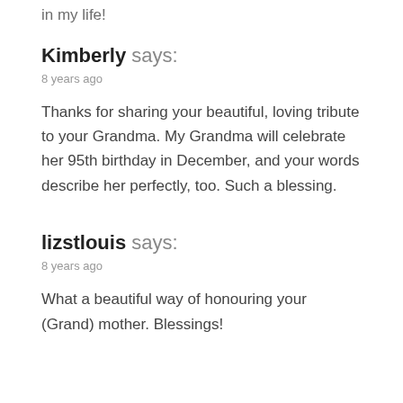in my life!
Kimberly says:
8 years ago
Thanks for sharing your beautiful, loving tribute to your Grandma. My Grandma will celebrate her 95th birthday in December, and your words describe her perfectly, too. Such a blessing.
lizstlouis says:
8 years ago
What a beautiful way of honouring your (Grand) mother. Blessings!